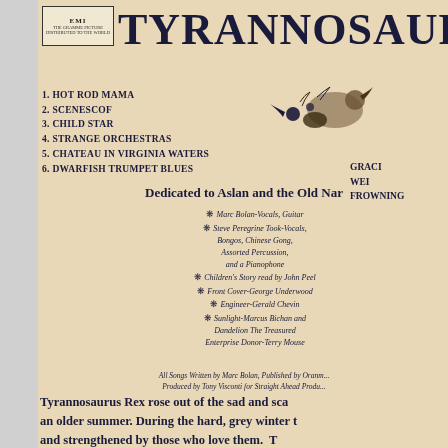[Figure (logo): EMI Records logo in box]
TYRANNOSAURUS
1. HOT ROD MAMA
2. SCENESCOF
3. CHILD STAR
4. STRANGE ORCHESTRAS
5. CHATEAU IN VIRGINIA WATERS
6. DWARFISH TRUMPET BLUES
GRACI
WEI
FROWNIN
[Figure (illustration): Decorative bird and floral illustration]
Dedicated to Aslan and the Old Nar
* Marc Bolan-Vocals, Guitar
* Steve Peregrine Took-Vocals, Bongos, Chinese Gong, Assorted Percussion, and a Pianophone
* Children's Story read by John Peel
* Front Cover-George Underwood
* Engineer-Gerald Chevin
* Sunlight-Marcus Bichan and Dandelion The Treasured
Enterprise Donor-Terry Mouse
All Songs Written by Marc Bolan, Published by Oranm...
Produced by Tony Visconti for Straight Ahead Produ...
Tyrannosaurus Rex rose out of the sad and sca an older summer. During the hard, grey winter t and strengthened by those who love them. T with the coming of spring, children rejoiced an with them. It will be a long and ecstatic summ